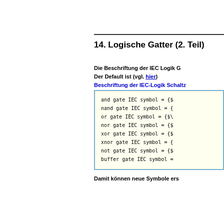14. Logische Gatter (2. Teil)
Die Beschriftung der IEC Logik Gä…
Der Default ist (vgl. hier)
Beschriftung der IEC-Logik Schaltz…
and gate IEC symbol = {$…
nand gate IEC symbol = {…
or gate IEC symbol = {$\…
nor gate IEC symbol = {$…
xor gate IEC symbol = {$…
xnor gate IEC symbol = {…
not gate IEC symbol = {$…
buffer gate IEC symbol =
Damit können neue Symbole ers…